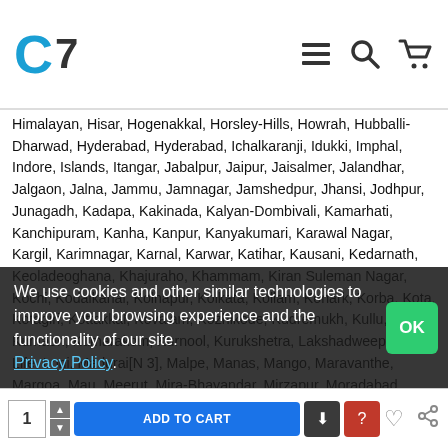C7 logo with navigation icons
Himalayan, Hisar, Hogenakkal, Horsley-Hills, Howrah, Hubballi-Dharwad, Hyderabad, Hyderabad, Ichalkaranji, Idukki, Imphal, Indore, Islands, Itangar, Jabalpur, Jaipur, Jaisalmer, Jalandhar, Jalgaon, Jalna, Jammu, Jamnagar, Jamshedpur, Jhansi, Jodhpur, Junagadh, Kadapa, Kakinada, Kalyan-Dombivali, Kamarhati, Kanchipuram, Kanha, Kanpur, Kanyakumari, Karawal Nagar, Kargil, Karimnagar, Karnal, Karwar, Katihar, Kausani, Kedarnath, Keoladeoghana, Khajuraho, Khammam, Kiran Suleman Nagar, Kochi, Kodaikanal, Kolhapur, Kolkata, Kollam, Konark, Korba, Kota, Kotagiri, Kottakkal, Kovalam, Kozhikode, Kudremukh, Kullu, Kulti, Kumaon, Kumarakom, Kurnool, Kurukshetra, Lakshadweep, Latur, Life, Loni, Madurai[N 3], Malpe, Manas, Mango, Maravanthe, Margoa, Mau, Meerut, Mira-Bhayandar, Mirzapur, Moradabad, Mount, Mumbai, Mussoorie, Muzaffarpur, Nalanda, Nanda, Nanded, Nandi-Hills, Nashik, National, Navi Mumbai, Nellore, Netravali, Nizamabad, Noida, North Dumdum, of, Orchha, Ozhukarai, Pali, Panipat, Parbhani, Patiala, Patnitop, Pattadakkal, Pondicherry, Puducherry, Pune, Puri, Purnia, Pushkar, Rajahmundry, Rajgir, Rameshwaram, Rampur, Ranchi, Ranikhet, Ranthambore, Rohtak, Rourkela, Sagar, Sangli-Miraj & Kupwad, Sariska, Satna, Shillong, Sikar, Solapur, South Dumdum, Sri Ganganagar, Srinagar, Surat, Tezpur, Thane, Thanjavur, Thiruvananthapuram, Thoothukudi, Thrissur, Tiruchirappalli, Tirunelveli, Tirupati, Tirupur, Tumkur, Udaipur, Ujjain, Vaishali, Vasai-Virar, Visakhapatnam, Vishakhapatnam, Vizianagaram, Warangal, Warangal, Wayanad, Yercaud, Zanskar etc.You may buy the latest electronics components, accessories and development boards from us at affordable prices. Buy Raspberry Pi and it's Accessories, Arduino, Arduino Shields, Arduino Modules, AVR, ARM, Development Boards, Wireless and Wired, Microcontroller and ICS, Robotic and it's Accessories, Prototyping Components, DIY Kits
We use cookies and other similar technologies to improve your browsing experience and the functionality of our site. Privacy Policy.